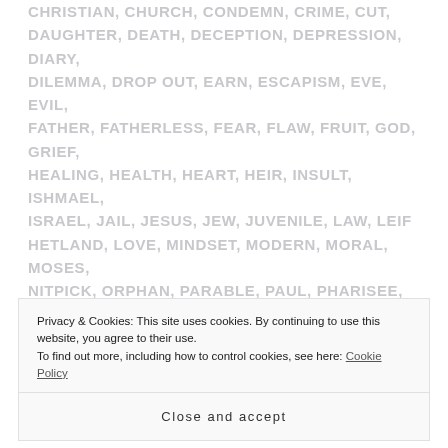CHRISTIAN, CHURCH, CONDEMN, CRIME, CUT, DAUGHTER, DEATH, DECEPTION, DEPRESSION, DIARY, DILEMMA, DROP OUT, EARN, ESCAPISM, EVE, EVIL, FATHER, FATHERLESS, FEAR, FLAW, FRUIT, GOD, GRIEF, HEALING, HEALTH, HEART, HEIR, INSULT, ISHMAEL, ISRAEL, JAIL, JESUS, JEW, JUVENILE, LAW, LEIF HETLAND, LOVE, MINDSET, MODERN, MORAL, MOSES, NITPICK, ORPHAN, PARABLE, PAUL, PHARISEE, POOR, PREGNANCY, PRESENCE, PRESSURE, PRODIGAL, PRODIGAL SON, PROPHECY, PURPOSE, RAPE, REBELLION, RELIGION, RIGHTEOUSNESS, RIGHTS, ROOTS, RUNAWAY, SALVATION, SCHOOL, SELF SUFFICIENT, SHAME, SIN,
Privacy & Cookies: This site uses cookies. By continuing to use this website, you agree to their use. To find out more, including how to control cookies, see here: Cookie Policy
Close and accept